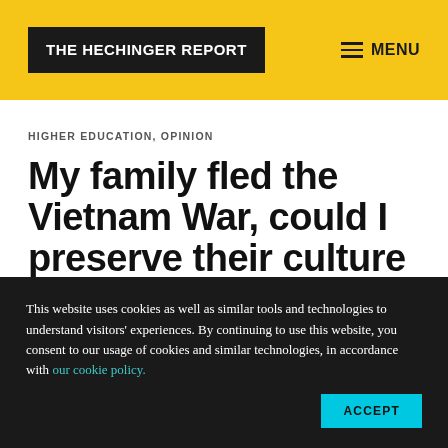THE HECHINGER REPORT  MENU
HIGHER EDUCATION, OPINION
My family fled the Vietnam War, could I preserve their culture and my college GPA?
This website uses cookies as well as similar tools and technologies to understand visitors' experiences. By continuing to use this website, you consent to our usage of cookies and similar technologies, in accordance with our cookie policy.